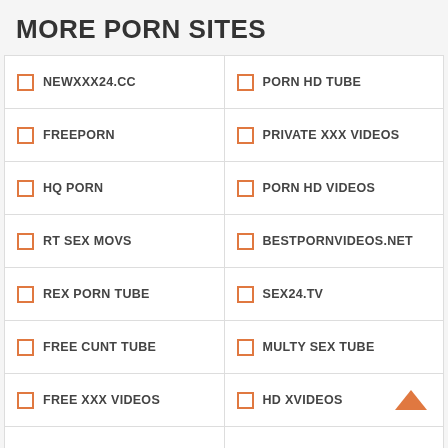MORE PORN SITES
NEWXXX24.CC
PORN HD TUBE
FREEPORN
PRIVATE XXX VIDEOS
HQ PORN
PORN HD VIDEOS
RT SEX MOVS
BESTPORNVIDEOS.NET
REX PORN TUBE
SEX24.TV
FREE CUNT TUBE
MULTY SEX TUBE
FREE XXX VIDEOS
HD XVIDEOS